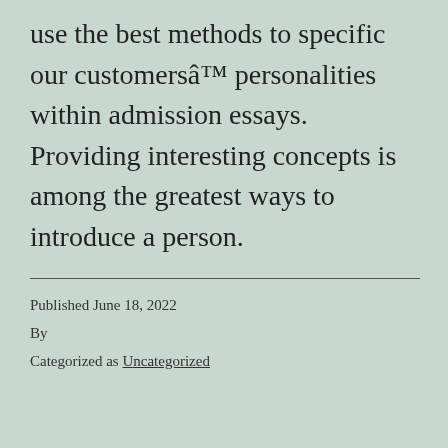supplied in the papers they create for you. We use the best methods to specific our customersâ€™ personalities within admission essays. Providing interesting concepts is among the greatest ways to introduce a person.
Published June 18, 2022
By
Categorized as Uncategorized